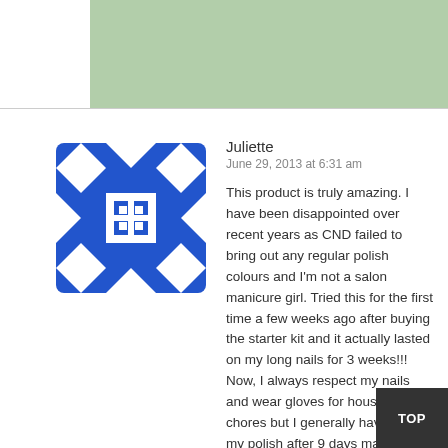[Figure (illustration): Green banner/header image at top right of page]
[Figure (illustration): Blue and white decorative tile avatar icon for user Juliette]
Juliette
June 29, 2013 at 6:31 am
This product is truly amazing. I have been disappointed over recent years as CND failed to bring out any regular polish colours and I'm not a salon manicure girl. Tried this for the first time a few weeks ago after buying the starter kit and it actually lasted on my long nails for 3 weeks!!! Now, I always respect my nails and wear gloves for household chores but I generally have to redo my polish after 9 days max. This did not chip or scuff and my only reason to replace was due to grow out. I love this and hope Creative